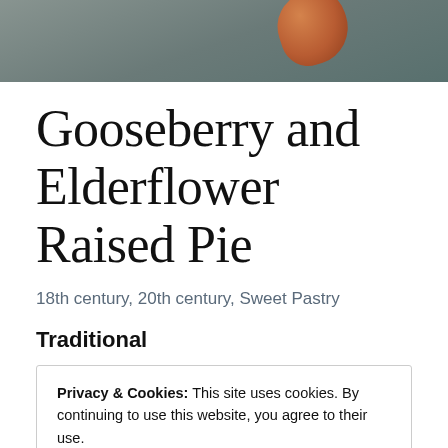[Figure (photo): Top portion of food photograph showing what appears to be a raised pie on a dark slate background]
Gooseberry and Elderflower Raised Pie
18th century, 20th century, Sweet Pastry
Traditional
Privacy & Cookies: This site uses cookies. By continuing to use this website, you agree to their use.
To find out more, including how to control cookies, see here: Cookie Policy
[Close and accept button]
the recipe, it was some time before I managed to find